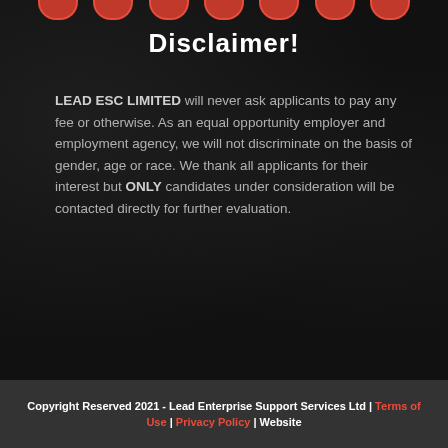Disclaimer!
LEAD ESC LIMITED will never ask applicants to pay any fee or otherwise. As an equal opportunity employer and employment agency, we will not discriminate on the basis of gender, age or race. We thank all applicants for their interest but ONLY candidates under consideration will be contacted directly for further evaluation.
Copyright Reserved 2021 - Lead Enterprise Support Services Ltd | Terms of Use | Privacy Policy | Website